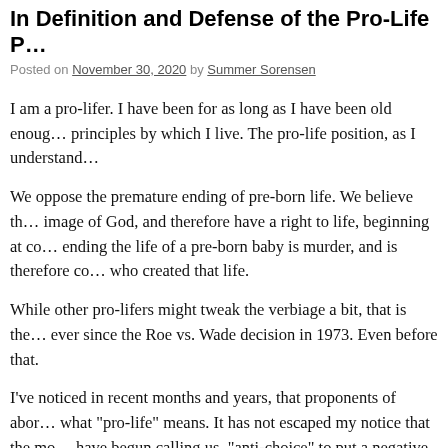In Definition and Defense of the Pro-Life P...
Posted on November 30, 2020 by Summer Sorensen
I am a pro-lifer. I have been for as long as I have been old enough to think about the principles by which I live. The pro-life position, as I understand...
We oppose the premature ending of pre-born life. We believe th... image of God, and therefore have a right to life, beginning at co... ending the life of a pre-born baby is murder, and is therefore co... who created that life.
While other pro-lifers might tweak the verbiage a bit, that is the... ever since the Roe vs. Wade decision in 1973. Even before that.
I've noticed in recent months and years, that proponents of abor... what "pro-life" means. It has not escaped my notice that the mo... have begun calling us, "anti-choice" to put a negative spin on th...
"How could you be against a woman's right to choose what hap...